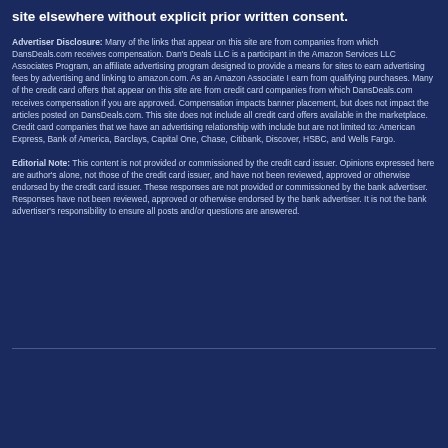site elsewhere without explicit prior written consent.
Advertiser Disclosure: Many of the links that appear on this site are from companies from which DansDeals.com receives compensation. Dan's Deals LLC is a participant in the Amazon Services LLC Associates Program, an affiliate advertising program designed to provide a means for sites to earn advertising fees by advertising and linking to amazon.com. As an Amazon Associate I earn from qualifying purchases. Many of the credit card offers that appear on this site are from credit card companies from which DansDeals.com receives compensation if you are approved. Compensation impacts banner placement, but does not impact the articles posted on DansDeals.com. This site does not include all credit card offers available in the marketplace. Credit card companies that we have an advertising relationship with include but are not limited to: American Express, Bank of America, Barclays, Capital One, Chase, Citibank, Discover, HSBC, and Wells Fargo.
Editorial Note: This content is not provided or commissioned by the credit card issuer. Opinions expressed here are author's alone, not those of the credit card issuer, and have not been reviewed, approved or otherwise endorsed by the credit card issuer. These responses are not provided or commissioned by the bank advertiser. Responses have not been reviewed, approved or otherwise endorsed by the bank advertiser. It is not the bank advertiser's responsibility to ensure all posts and/or questions are answered.